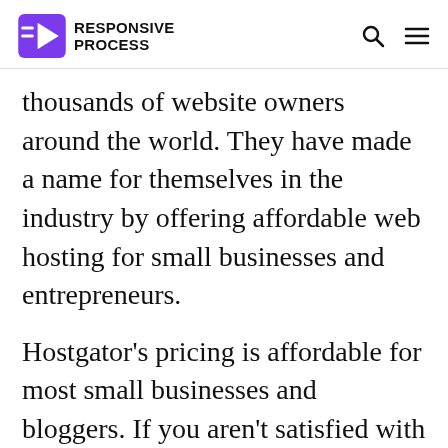RESPONSIVE PROCESS
thousands of website owners around the world. They have made a name for themselves in the industry by offering affordable web hosting for small businesses and entrepreneurs.
Hostgator’s pricing is affordable for most small businesses and bloggers. If you aren’t satisfied with their service, you can ask for your money back